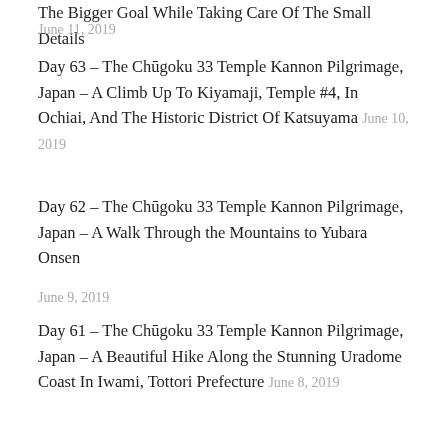The Bigger Goal While Taking Care Of The Small Details
June 11, 2019
Day 63 – The Chūgoku 33 Temple Kannon Pilgrimage, Japan – A Climb Up To Kiyamaji, Temple #4, In Ochiai, And The Historic District Of Katsuyama June 10, 2019
Day 62 – The Chūgoku 33 Temple Kannon Pilgrimage, Japan – A Walk Through the Mountains to Yubara Onsen June 9, 2019
Day 61 – The Chūgoku 33 Temple Kannon Pilgrimage, Japan – A Beautiful Hike Along the Stunning Uradome Coast In Iwami, Tottori Prefecture June 8, 2019
Day 60 – The Chūgoku 33 Temple Kannon Pilgrimage, Japan – Big Japanese Monk In Maniji Temple, And The Amazing Sand Sculptures In The Tottori Sand Museum June 6, 2019